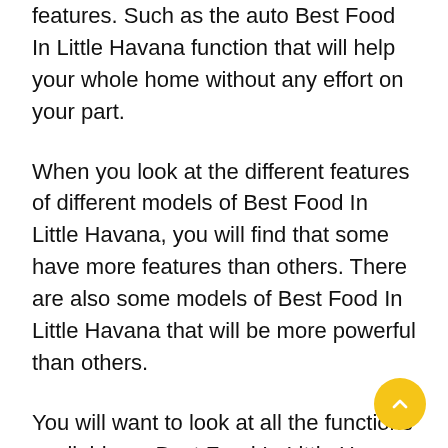features. Such as the auto Best Food In Little Havana function that will help your whole home without any effort on your part.
When you look at the different features of different models of Best Food In Little Havana, you will find that some have more features than others. There are also some models of Best Food In Little Havana that will be more powerful than others.
You will want to look at all the functions available on Best Food In Little Havana to decide which one is best for you. Once you